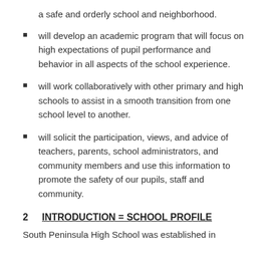a safe and orderly school and neighborhood.
will develop an academic program that will focus on high expectations of pupil performance and behavior in all aspects of the school experience.
will work collaboratively with other primary and high schools to assist in a smooth transition from one school level to another.
will solicit the participation, views, and advice of teachers, parents, school administrators, and community members and use this information to promote the safety of our pupils, staff and community.
2   INTRODUCTION = SCHOOL PROFILE
South Peninsula High School was established in